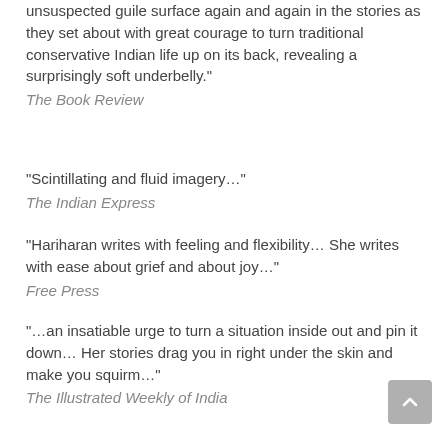unsuspected guile surface again and again in the stories as they set about with great courage to turn traditional conservative Indian life up on its back, revealing a surprisingly soft underbelly."
The Book Review
“Scintillating and fluid imagery…”
The Indian Express
“Hariharan writes with feeling and flexibility… She writes with ease about grief and about joy…”
Free Press
“…an insatiable urge to turn a situation inside out and pin it down… Her stories drag you in right under the skin and make you squirm…”
The Illustrated Weekly of India